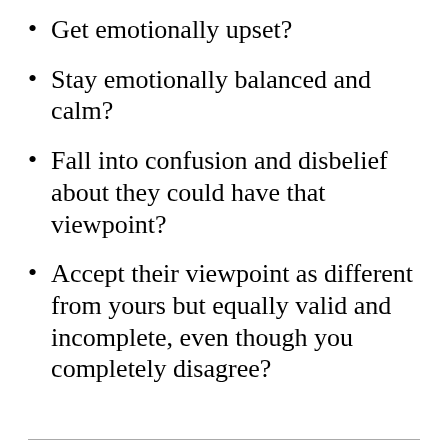Get emotionally upset?
Stay emotionally balanced and calm?
Fall into confusion and disbelief about they could have that viewpoint?
Accept their viewpoint as different from yours but equally valid and incomplete, even though you completely disagree?